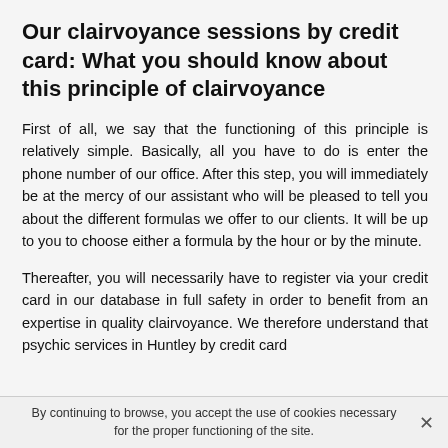Our clairvoyance sessions by credit card: What you should know about this principle of clairvoyance
First of all, we say that the functioning of this principle is relatively simple. Basically, all you have to do is enter the phone number of our office. After this step, you will immediately be at the mercy of our assistant who will be pleased to tell you about the different formulas we offer to our clients. It will be up to you to choose either a formula by the hour or by the minute.
Thereafter, you will necessarily have to register via your credit card in our database in full safety in order to benefit from an expertise in quality clairvoyance. We therefore understand that psychic services in Huntley by credit card
By continuing to browse, you accept the use of cookies necessary for the proper functioning of the site.